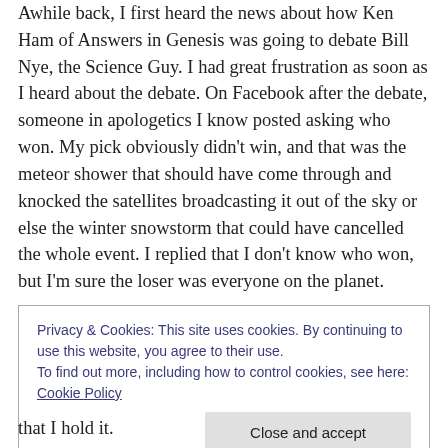Awhile back, I first heard the news about how Ken Ham of Answers in Genesis was going to debate Bill Nye, the Science Guy. I had great frustration as soon as I heard about the debate. On Facebook after the debate, someone in apologetics I know posted asking who won. My pick obviously didn't win, and that was the meteor shower that should have come through and knocked the satellites broadcasting it out of the sky or else the winter snowstorm that could have cancelled the whole event. I replied that I don't know who won, but I'm sure the loser was everyone on the planet.
Privacy & Cookies: This site uses cookies. By continuing to use this website, you agree to their use.
To find out more, including how to control cookies, see here: Cookie Policy
that I hold it.